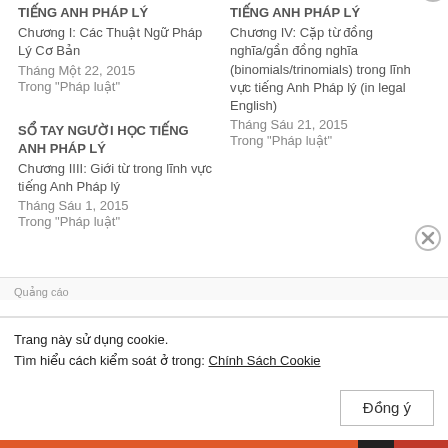TIẾNG ANH PHÁP LÝ
Chương I: Các Thuật Ngữ Pháp Lý Cơ Bản
Tháng Một 22, 2015
Trong "Pháp luật"
TIẾNG ANH PHÁP LÝ
Chương IV: Cặp từ đồng nghĩa/gần đồng nghĩa (binomials/trinomials) trong lĩnh vực tiếng Anh Pháp lý (in legal English)
Tháng Sáu 21, 2015
Trong "Pháp luật"
SỔ TAY NGƯỜI HỌC TIẾNG ANH PHÁP LÝ
Chương IIII: Giới từ trong lĩnh vực tiếng Anh Pháp lý
Tháng Sáu 1, 2015
Trong "Pháp luật"
Quảng cáo
Trang này sử dụng cookie.
Tìm hiểu cách kiểm soát ở trong: Chính Sách Cookie
Đồng ý